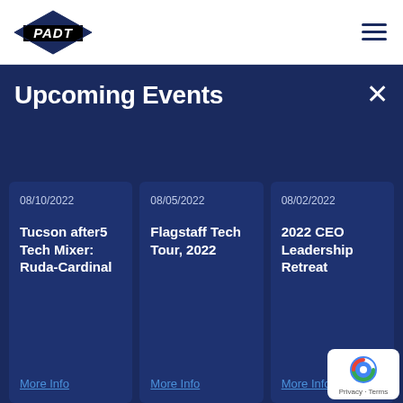PADT [logo] [hamburger menu]
Upcoming Events
08/10/2022 — Tucson after5 Tech Mixer: Ruda-Cardinal — More Info
08/05/2022 — Flagstaff Tech Tour, 2022 — More Info
08/02/2022 — 2022 CEO Leadership Retreat — More Info